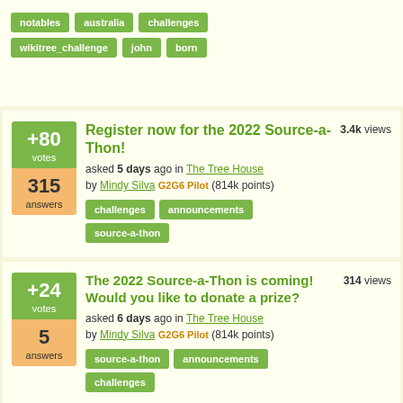notables  australia  challenges  wikitree_challenge  john  born
+80 votes | 315 answers | Register now for the 2022 Source-a-Thon! | 3.4k views | asked 5 days ago in The Tree House by Mindy Silva G2G6 Pilot (814k points) | Tags: challenges, announcements, source-a-thon
+24 votes | 5 answers | The 2022 Source-a-Thon is coming! Would you like to donate a prize? | 314 views | asked 6 days ago in The Tree House by Mindy Silva G2G6 Pilot (814k points) | Tags: source-a-thon, announcements, challenges